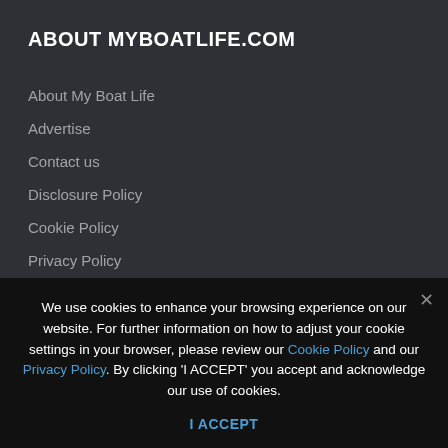ABOUT MYBOATLIFE.COM
About My Boat Life
Advertise
Contact us
Disclosure Policy
Cookie Policy
Privacy Policy
eNews Signup
We use cookies to enhance your browsing experience on our website. For further information on how to adjust your cookie settings in your browser, please review our Cookie Policy and our Privacy Policy. By clicking 'I ACCEPT' you accept and acknowledge our use of cookies.
I ACCEPT